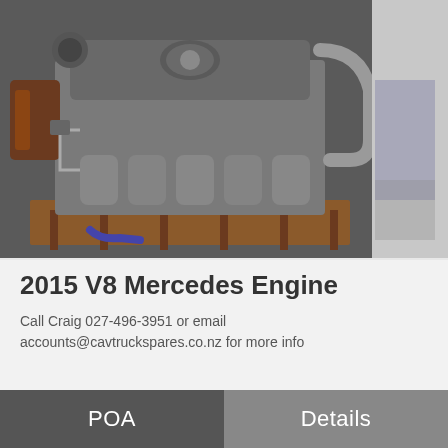[Figure (photo): Photograph of a used 2015 V8 Mercedes engine, shown from above on a wooden pallet. The engine is dark grey/black metal with visible intake manifold, valve covers, and engine components. Background shows a concrete floor and blue automotive parts.]
2015 V8 Mercedes Engine
Call Craig 027-496-3951 or email accounts@cavtruckspares.co.nz for more info
POA | Details